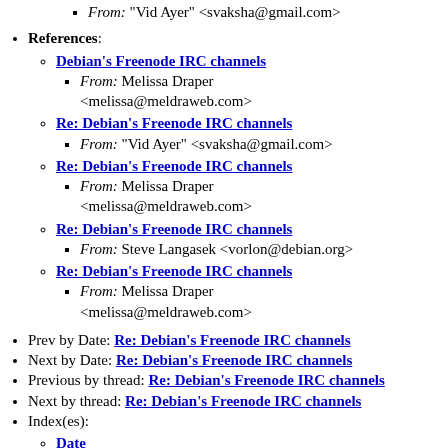From: "Vid Ayer" <svaksha@gmail.com>
References:
Debian's Freenode IRC channels
From: Melissa Draper <melissa@meldraweb.com>
Re: Debian's Freenode IRC channels
From: "Vid Ayer" <svaksha@gmail.com>
Re: Debian's Freenode IRC channels
From: Melissa Draper <melissa@meldraweb.com>
Re: Debian's Freenode IRC channels
From: Steve Langasek <vorlon@debian.org>
Re: Debian's Freenode IRC channels
From: Melissa Draper <melissa@meldraweb.com>
Prev by Date: Re: Debian's Freenode IRC channels
Next by Date: Re: Debian's Freenode IRC channels
Previous by thread: Re: Debian's Freenode IRC channels
Next by thread: Re: Debian's Freenode IRC channels
Index(es):
Date
Thread